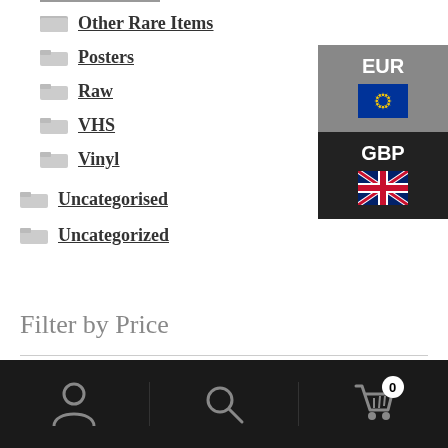Other Rare Items
Posters
Raw
VHS
Vinyl
Uncategorised
Uncategorized
[Figure (infographic): Currency selector widget showing EUR with EU flag (grey background) and GBP with UK flag (dark/black background)]
Filter by Price
[Figure (infographic): Price range slider with blue track and two blue circular handles at both ends]
[Figure (infographic): Bottom navigation bar (dark/black) with user icon, search icon, and shopping cart icon with badge showing 0]